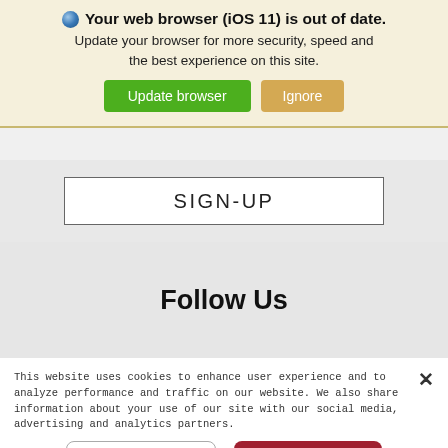Your web browser (iOS 11) is out of date. Update your browser for more security, speed and the best experience on this site.
Update browser
Ignore
SIGN-UP
Follow Us
This website uses cookies to enhance user experience and to analyze performance and traffic on our website. We also share information about your use of our site with our social media, advertising and analytics partners.
View Cookie Settings
Accept Cookies